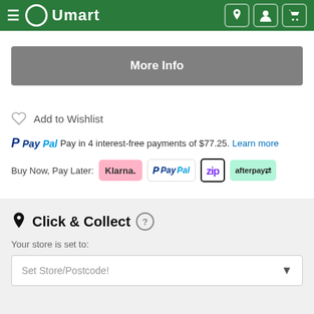Umart
More Info
Add to Wishlist
PayPal Pay in 4 interest-free payments of $77.25. Learn more
Buy Now, Pay Later: Klarna PayPal Zip afterpay
Click & Collect
Your store is set to:
Set Store/Postcode!